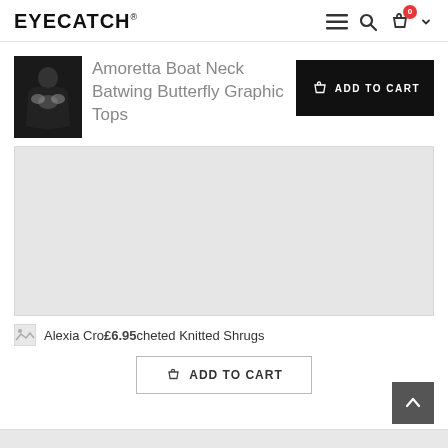EYECATCH®
Amoretta Boat Neck Batwing Butterfly Graphic Tops
ADD TO CART
[Figure (photo): Small product thumbnail of a black graphic top with butterfly design]
[Figure (photo): Large gray placeholder image area for product]
Alexia Crocheted Knitted Shrugs
£6.95
ADD TO CART